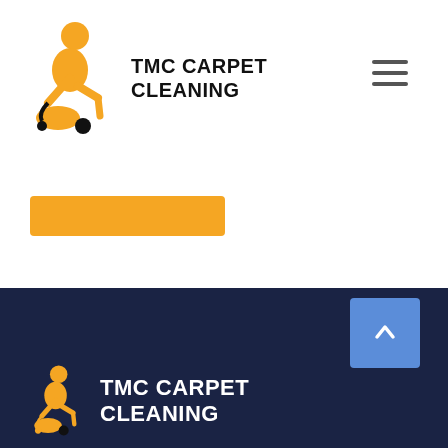[Figure (logo): TMC Carpet Cleaning logo with orange figure vacuuming, black text]
[Figure (illustration): Hamburger menu icon (three horizontal lines)]
[Figure (illustration): Orange rectangular button]
[Figure (infographic): Pagination controls: active circle '1' in blue, circle '2', circle with right arrow '>']
[Figure (illustration): Dark navy footer area with back-to-top blue button showing caret/arrow up]
[Figure (logo): TMC Carpet Cleaning logo in white text on dark navy background with orange figure]